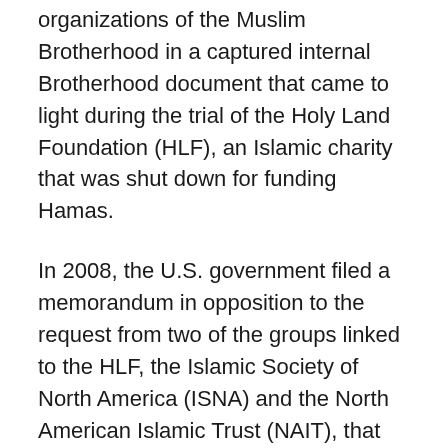organizations of the Muslim Brotherhood in a captured internal Brotherhood document that came to light during the trial of the Holy Land Foundation (HLF), an Islamic charity that was shut down for funding Hamas.
In 2008, the U.S. government filed a memorandum in opposition to the request from two of the groups linked to the HLF, the Islamic Society of North America (ISNA) and the North American Islamic Trust (NAIT), that the “unindicted co-conspirator” designation they received during the HLF trial be removed (it wasn’t). The memorandum is a useful and illuminating summary of what some of the most prominent Islamic groups in the U.S., including the key members of the USCMO coalition, have been involved with.
These Muslim groups, said the memorandum, “operated in